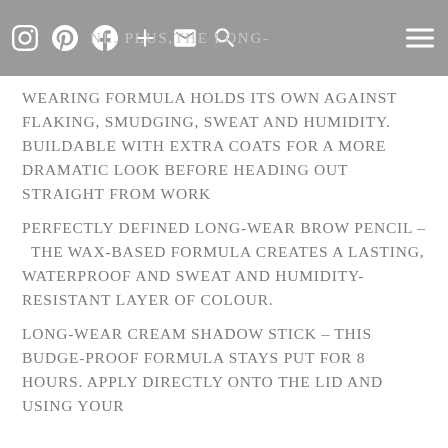NL. Plus, the long-wearing formula holds its own against flaking, smudging, sweat and humidity.
WEARING FORMULA HOLDS ITS OWN AGAINST FLAKING, SMUDGING, SWEAT AND HUMIDITY. Buildable with extra coats for a more dramatic look before heading out straight from work
PERFECTLY DEFINED LONG-WEAR BROW PENCIL – The wax-based formula creates a lasting, waterproof and sweat and humidity-resistant layer of colour.
LONG-WEAR CREAM SHADOW STICK – This budge-proof formula stays put for 8 hours. Apply directly onto the lid and using your